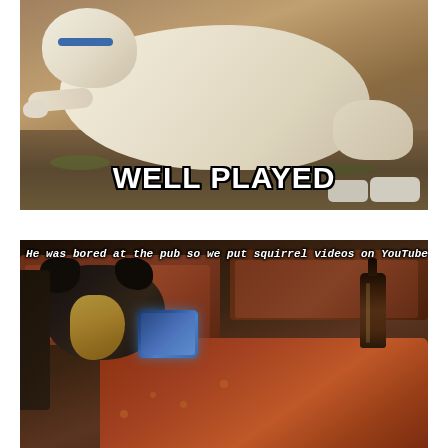[Figure (photo): A white dog lying on the ground outdoors on dirt and grass. Text overlay at bottom reads 'WELL PLAYED' in large bold white letters with black outline.]
[Figure (photo): A dog sitting at a pub table watching a phone/tablet screen. A bottle is visible on the table. Caption text at top reads 'He was bored at the pub so we put squirrel videos on YouTube.']